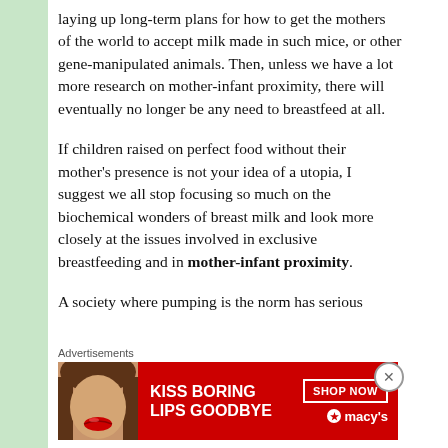laying up long-term plans for how to get the mothers of the world to accept milk made in such mice, or other gene-manipulated animals. Then, unless we have a lot more research on mother-infant proximity, there will eventually no longer be any need to breastfeed at all.
If children raised on perfect food without their mother's presence is not your idea of a utopia, I suggest we all stop focusing so much on the biochemical wonders of breast milk and look more closely at the issues involved in exclusive breastfeeding and in mother-infant proximity.
A society where pumping is the norm has serious
Advertisements
[Figure (photo): Advertisement banner for Macy's lipstick product. Red background with white bold text 'KISS BORING LIPS GOODBYE', a photo of a woman's lips and face, a 'SHOP NOW' button outline, and the Macy's logo with star.]